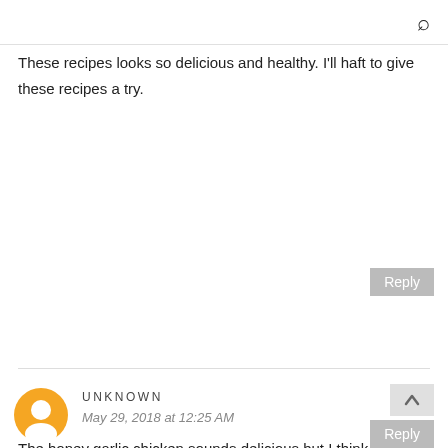🔍
These recipes looks so delicious and healthy. I'll haft to give these recipes a try.
Reply
UNKNOWN
May 29, 2018 at 12:25 AM
The honey garlic chicken sounds delicious but I think it also sounds amazing in the salmon version as well Your menu plans are so helpful and always yummy!
Reply